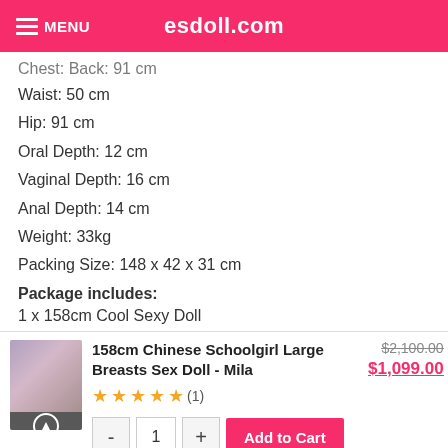MENU   esdoll.com
Chest: Back: 91 cm
Waist: 50 cm
Hip: 91 cm
Oral Depth: 12 cm
Vaginal Depth: 16 cm
Anal Depth: 14 cm
Weight: 33kg
Packing Size: 148 x 42 x 31 cm
Package includes:
1 x 158cm Cool Sexy Doll
[Figure (photo): Thumbnail image of a sex doll product]
158cm Chinese Schoolgirl Large Breasts Sex Doll - Mila
★★★★★ (1)
$2,100.00  $1,099.00
- 1 + Add to Cart